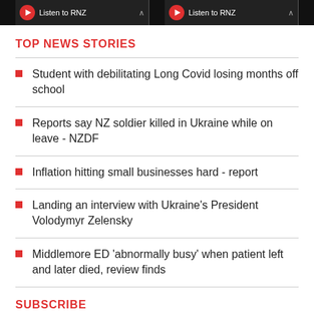Listen to RNZ | Listen to RNZ
TOP NEWS STORIES
Student with debilitating Long Covid losing months off school
Reports say NZ soldier killed in Ukraine while on leave - NZDF
Inflation hitting small businesses hard - report
Landing an interview with Ukraine's President Volodymyr Zelensky
Middlemore ED 'abnormally busy' when patient left and later died, review finds
SUBSCRIBE